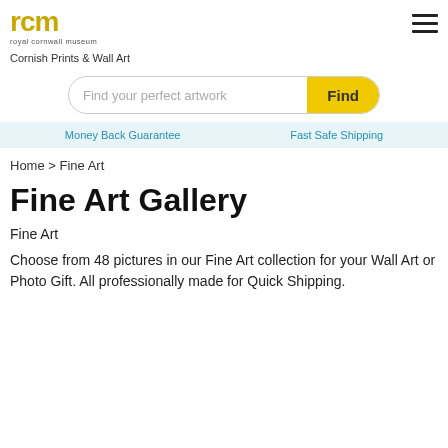[Figure (logo): Royal Cornwall Museum logo: stylized 'rcm' text in gold/yellow with 'royal cornwall museum' in small grey text below]
Cornish Prints & Wall Art
[Figure (other): Hamburger menu icon (three horizontal lines)]
Find your perfect artwork
Money Back Guarantee
Fast Safe Shipping
Home > Fine Art
Fine Art Gallery
Fine Art
Choose from 48 pictures in our Fine Art collection for your Wall Art or Photo Gift. All professionally made for Quick Shipping.